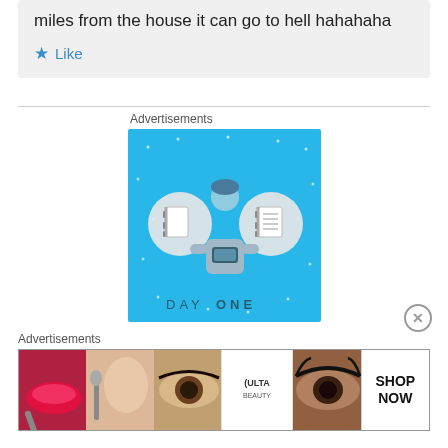miles from the house it can go to hell hahahaha
★ Like
Advertisements
[Figure (illustration): DAY ONE app advertisement — cyan/blue background with illustrated person looking at phone, flanked by two circular notebook icons, text 'DAY ONE' at bottom]
Advertisements
[Figure (photo): Bottom banner ad strip showing beauty/cosmetics images: red lips with brush, eye with brush, close-up eye, ULTA Beauty logo, dramatic eye makeup, and SHOP NOW button]